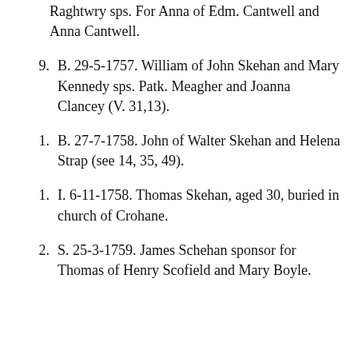Raghtwry sps. For Anna of Edm. Cantwell and Anna Cantwell.
9.  B. 29-5-1757. William of John Skehan and Mary Kennedy sps. Patk. Meagher and Joanna Clancey (V. 31,13).
1.  B. 27-7-1758. John of Walter Skehan and Helena Strap (see 14, 35, 49).
1.  I. 6-11-1758. Thomas Skehan, aged 30, buried in church of Crohane.
2.  S. 25-3-1759. James Schehan sponsor for Thomas of Henry Scofield and Mary Boyle.